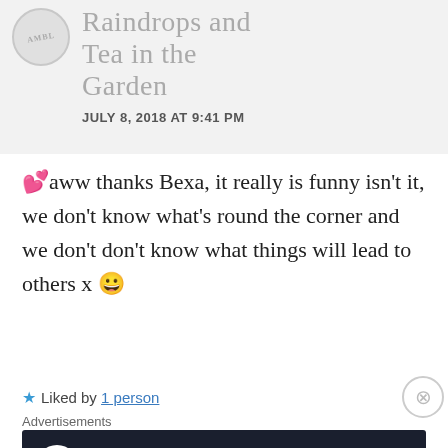Raindrops and Tea in the Garden
JULY 8, 2018 AT 9:41 PM
💕aww thanks Bexa, it really is funny isn't it, we don't know what's round the corner and we don't don't know what things will lead to others x 😀
★ Liked by 1 person
Advertisements
Launch your online course with WordPress   Learn More